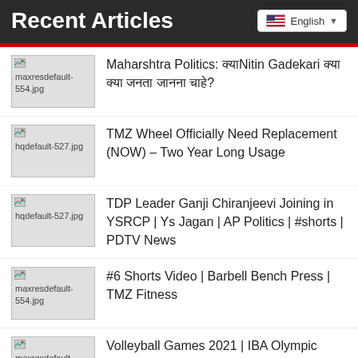Recent Articles
Maharshtra Politics: क्याNitin Gadekari क्या क्या जनता जानना चाहे?
TMZ Wheel Officially Need Replacement (NOW) – Two Year Long Usage
TDP Leader Ganji Chiranjeevi Joining in YSRCP | Ys Jagan | AP Politics | #shorts | PDTV News
#6 Shorts Video | Barbell Bench Press | TMZ Fitness
Volleyball Games 2021 | IBA Olympic Games 2021 – 2022